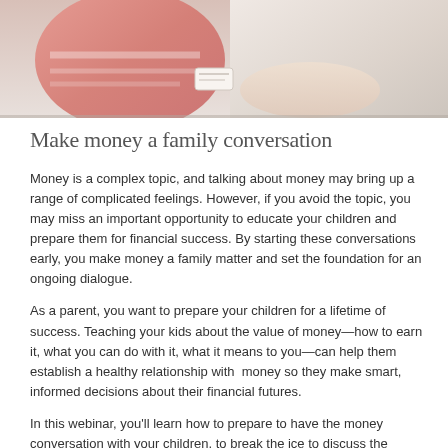[Figure (photo): Photo of a child and adult exchanging money or a card, viewed from above. The child appears to be wearing a pink striped shirt.]
Make money a family conversation
Money is a complex topic, and talking about money may bring up a range of complicated feelings. However, if you avoid the topic, you may miss an important opportunity to educate your children and prepare them for financial success. By starting these conversations early, you make money a family matter and set the foundation for an ongoing dialogue.
As a parent, you want to prepare your children for a lifetime of success. Teaching your kids about the value of money—how to earn it, what you can do with it, what it means to you—can help them establish a healthy relationship with  money so they make smart, informed decisions about their financial futures.
In this webinar, you'll learn how to prepare to have the money conversation with your children, to break the ice to discuss the